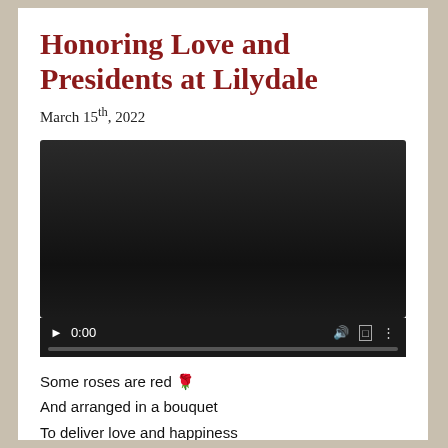Honoring Love and Presidents at Lilydale
March 15th, 2022
[Figure (screenshot): Embedded video player showing a dark/black video frame with playback controls: play button, time display '0:00', volume icon, fullscreen icon, and options icon. A gray progress bar is visible at the bottom.]
Some roses are red 🌹
And arranged in a bouquet
To deliver love and happiness
On Valentine's Day